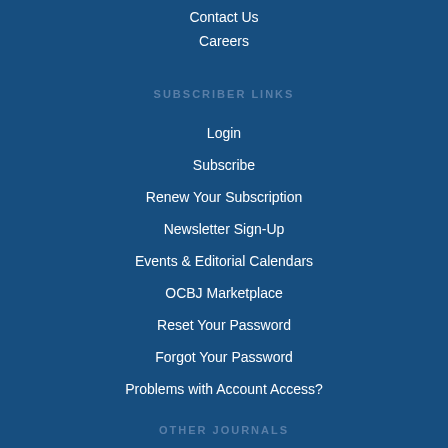Contact Us
Careers
SUBSCRIBER LINKS
Login
Subscribe
Renew Your Subscription
Newsletter Sign-Up
Events & Editorial Calendars
OCBJ Marketplace
Reset Your Password
Forgot Your Password
Problems with Account Access?
OTHER JOURNALS